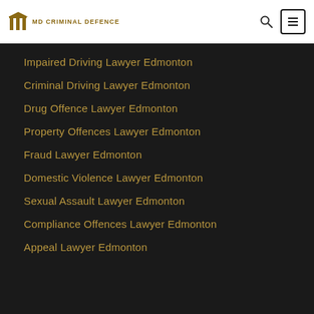[Figure (logo): MD Criminal Defence logo with building/columns icon in gold and text 'MD CRIMINAL DEFENCE']
Impaired Driving Lawyer Edmonton
Criminal Driving Lawyer Edmonton
Drug Offence Lawyer Edmonton
Property Offences Lawyer Edmonton
Fraud Lawyer Edmonton
Domestic Violence Lawyer Edmonton
Sexual Assault Lawyer Edmonton
Compliance Offences Lawyer Edmonton
Appeal Lawyer Edmonton